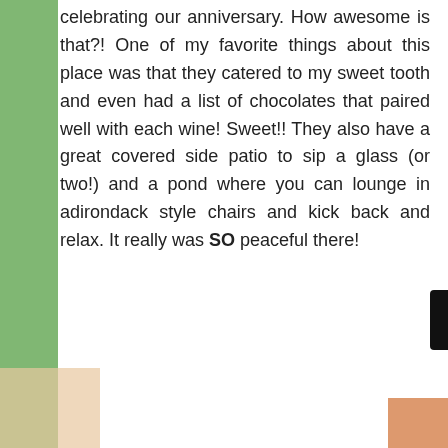celebrating our anniversary. How awesome is that?! One of my favorite things about this place was that they catered to my sweet tooth and even had a list of chocolates that paired well with each wine! Sweet!! They also have a great covered side patio to sip a glass (or two!) and a pond where you can lounge in adirondack style chairs and kick back and relax. It really was SO peaceful there!